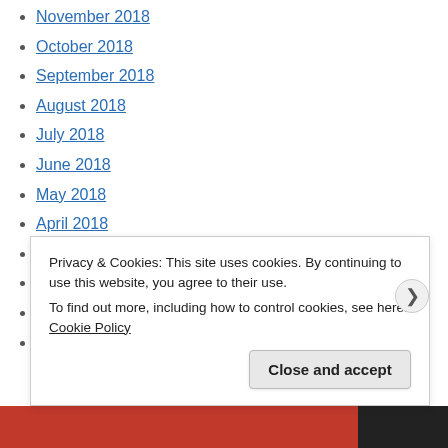November 2018
October 2018
September 2018
August 2018
July 2018
June 2018
May 2018
April 2018
March 2018
February 2018
January 2018
December 2017
Privacy & Cookies: This site uses cookies. By continuing to use this website, you agree to their use.
To find out more, including how to control cookies, see here: Cookie Policy
Close and accept